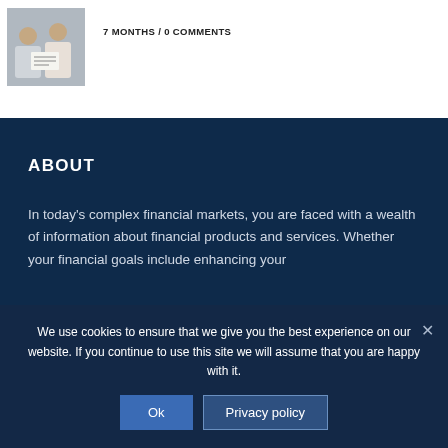[Figure (photo): Thumbnail photo of two people reviewing documents, appearing to consult on financial planning]
7 MONTHS / 0 COMMENTS
ABOUT
In today's complex financial markets, you are faced with a wealth of information about financial products and services. Whether your financial goals include enhancing your
We use cookies to ensure that we give you the best experience on our website. If you continue to use this site we will assume that you are happy with it.